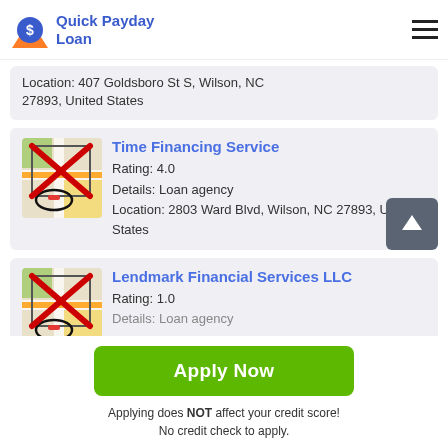Quick Payday Loan
Location: 407 Goldsboro St S, Wilson, NC 27893, United States
Time Financing Service
Rating: 4.0
Details: Loan agency
Location: 2803 Ward Blvd, Wilson, NC 27893, United States
Lendmark Financial Services LLC
Rating: 1.0
Details: Loan agency
Apply Now
Applying does NOT affect your credit score!
No credit check to apply.